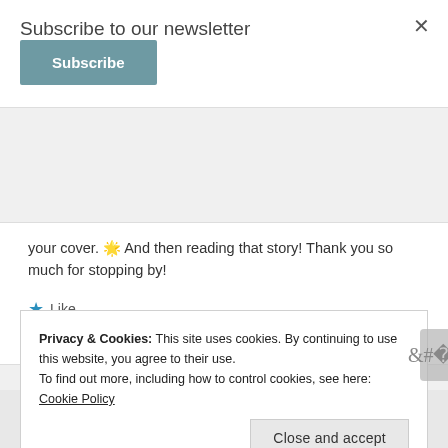Subscribe to our newsletter
Subscribe
your cover. 🌟 And then reading that story! Thank you so much for stopping by!
★ Like
Reply
Privacy & Cookies: This site uses cookies. By continuing to use this website, you agree to their use.
To find out more, including how to control cookies, see here: Cookie Policy
Close and accept